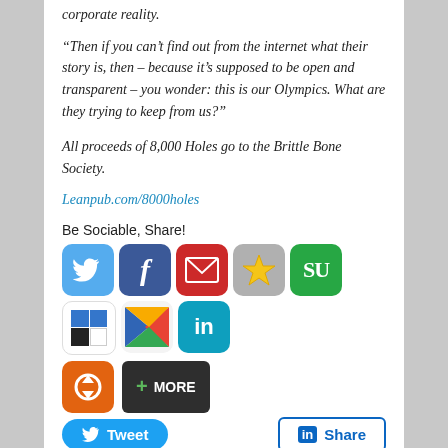corporate reality.
“Then if you can’t find out from the internet what their story is, then – because it’s supposed to be open and transparent – you wonder: this is our Olympics. What are they trying to keep from us?”
All proceeds of 8,000 Holes go to the Brittle Bone Society.
Leanpub.com/8000holes
Be Sociable, Share!
[Figure (infographic): Social sharing icon buttons: Twitter, Facebook, Mail, Bookmark star, StumbleUpon, Delicious, Google+, LinkedIn, and a circular arrow icon plus a MORE button]
[Figure (infographic): Tweet button and LinkedIn Share button]
This entry was posted in Uncategorized and tagged 8000 Holes, Chai Patel, Coca Cola, Geoff Holt, Jamie Oliver Ltd,